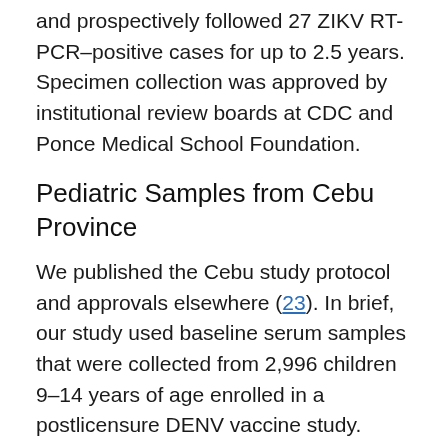and prospectively followed 27 ZIKV RT-PCR–positive cases for up to 2.5 years. Specimen collection was approved by institutional review boards at CDC and Ponce Medical School Foundation.
Pediatric Samples from Cebu Province
We published the Cebu study protocol and approvals elsewhere (23). In brief, our study used baseline serum samples that were collected from 2,996 children 9–14 years of age enrolled in a postlicensure DENV vaccine study. Cohort residence was equally split between Bogo and Balamban, both semiurban areas. We collected samples and demographic information before participants were vaccinated at the same visit.
DENV and ZIKV Focus Reduction